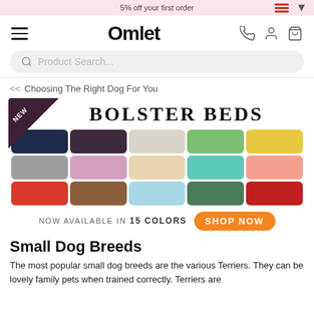5% off your first order
[Figure (screenshot): Omlet website navigation bar with hamburger menu, Omlet logo, phone, user, and cart icons]
[Figure (screenshot): Product Search input bar with search icon]
<< Choosing The Right Dog For You
[Figure (infographic): Bolster Beds advertisement banner showing NEW badge, BOLSTER BEDS title, 15 colored dog beds in a grid, and Shop Now button. Text: NOW AVAILABLE IN 15 COLORS]
Small Dog Breeds
The most popular small dog breeds are the various Terriers. They can be lovely family pets when trained correctly. Terriers are